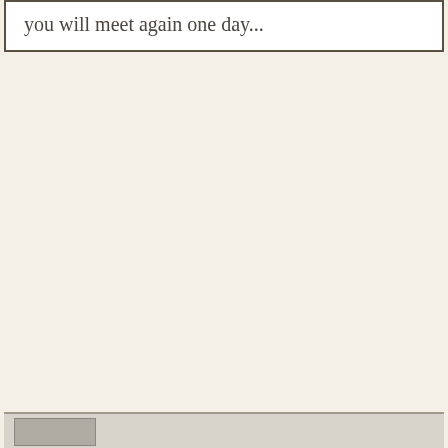you will meet again one day...
[Figure (other): Bottom strip with a small thumbnail image element visible at the lower portion of the page]